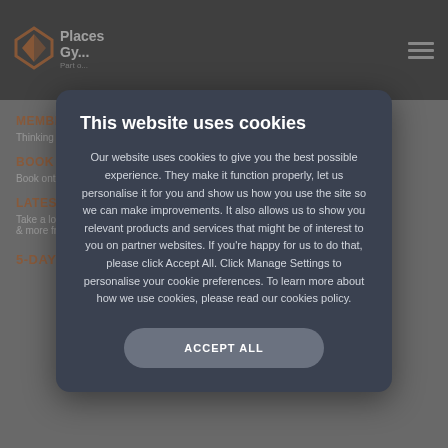[Figure (logo): Places Gym logo with orange diamond/arrow icon and white text, part of a nav bar on dark background]
MEMBERS
Thinking of...                                           eals
BOOK A C
Book onto a...
LATEST T
Take a look                                              workouts & more fro...
5-DAY FULL BODY WORKOUT
This website uses cookies
Our website uses cookies to give you the best possible experience. They make it function properly, let us personalise it for you and show us how you use the site so we can make improvements. It also allows us to show you relevant products and services that might be of interest to you on partner websites. If you're happy for us to do that, please click Accept All. Click Manage Settings to personalise your cookie preferences. To learn more about how we use cookies, please read our cookies policy.
ACCEPT ALL